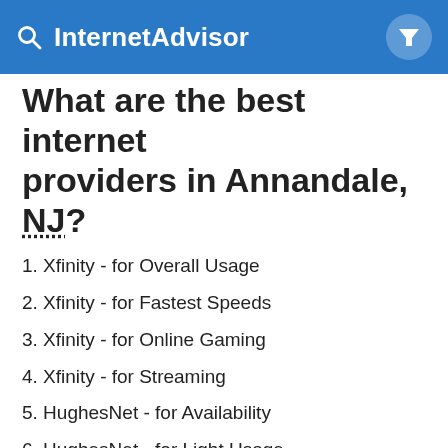InternetAdvisor
What are the best internet providers in Annandale, NJ?
1. Xfinity - for Overall Usage
2. Xfinity - for Fastest Speeds
3. Xfinity - for Online Gaming
4. Xfinity - for Streaming
5. HughesNet - for Availability
6. HughesNet - for Light Usage
What are the internet providers with the widest coverage in Annandale, NJ?